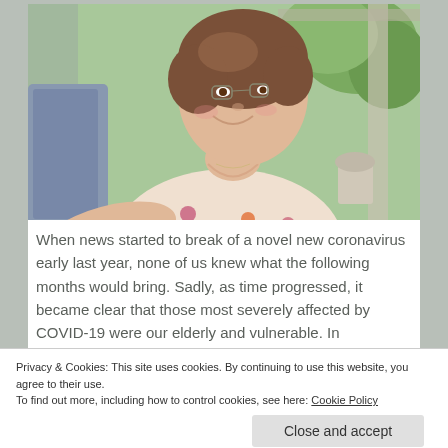[Figure (photo): An elderly woman smiling, wearing a floral top, sitting outdoors with plants and a porch in the background.]
When news started to break of a novel new coronavirus early last year, none of us knew what the following months would bring. Sadly, as time progressed, it became clear that those most severely affected by COVID-19 were our elderly and vulnerable. In residential care homes and support facilities
Privacy & Cookies: This site uses cookies. By continuing to use this website, you agree to their use.
To find out more, including how to control cookies, see here: Cookie Policy
Close and accept